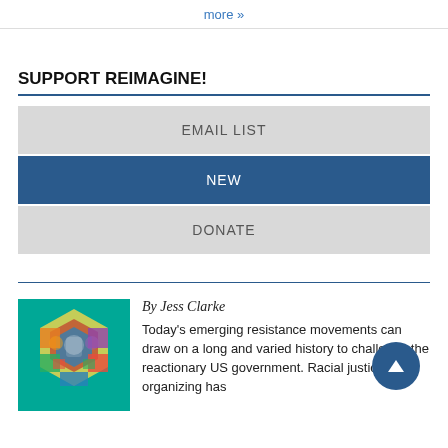more »
SUPPORT REIMAGINE!
EMAIL LIST
NEW
DONATE
[Figure (illustration): Colorful mosaic/collage illustration on teal background featuring diverse figures arranged in a circular pattern]
By Jess Clarke
Today's emerging resistance movements can draw on a long and varied history to challenge the reactionary US government. Racial justice organizing has